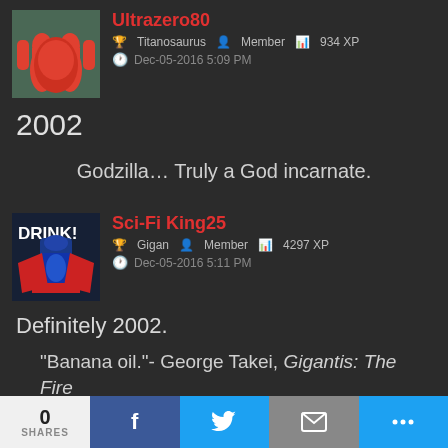Ultrazero80 | Titanosaurus | Member | 934 XP | Dec-05-2016 5:09 PM
2002
Godzilla… Truly a God incarnate.
Sci-Fi King25 | Gigan | Member | 4297 XP | Dec-05-2016 5:11 PM
Definitely 2002.
"Banana oil."- George Takei, Gigantis: The Fire Monster
0 SHARES | f | t | mail | share